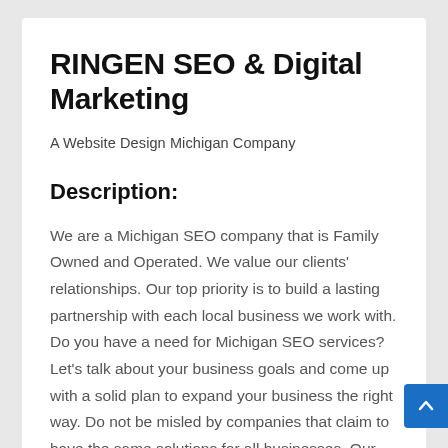RINGEN SEO & Digital Marketing
A Website Design Michigan Company
Description:
We are a Michigan SEO company that is Family Owned and Operated. We value our clients' relationships. Our top priority is to build a lasting partnership with each local business we work with. Do you have a need for Michigan SEO services? Let's talk about your business goals and come up with a solid plan to expand your business the right way. Do not be misled by companies that claim to have the same solutions for all businesses. Our team of certified experts in the SEO